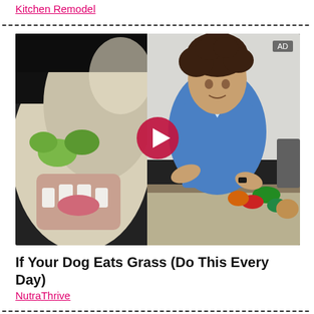Kitchen Remodel
[Figure (screenshot): Video ad thumbnail showing a split image: left side is a close-up of a dog's face (golden retriever with mouth open showing teeth, with green vegetables), right side is a man in a blue shirt in a kitchen with vegetables on the counter. A red play button is overlaid in the center. AD badge in top-right corner.]
If Your Dog Eats Grass (Do This Every Day)
NutraThrive